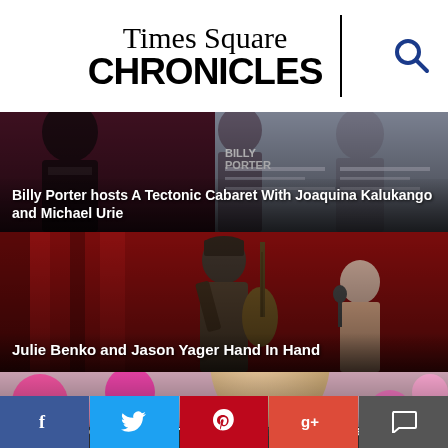Times Square CHRONICLES
[Figure (photo): Article thumbnail: Billy Porter hosts A Tectonic Cabaret With Joaquina Kalukango and Michael Urie – people at an event]
Billy Porter hosts A Tectonic Cabaret With Joaquina Kalukango and Michael Urie
[Figure (photo): Article thumbnail: Julie Benko and Jason Yager Hand In Hand – musicians performing]
Julie Benko and Jason Yager Hand In Hand
[Figure (photo): Article thumbnail: Betty Buckley Is Back Where She Belongs At The Café Carlyle – woman smiling with flowers in background]
Betty Buckley Is Back Where She Belongs At The Café Carlyle